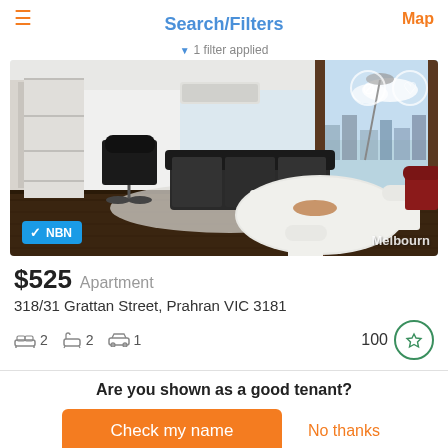Search/Filters
1 filter applied
[Figure (photo): Interior photo of a modern apartment living/dining area with dark hardwood floors, black leather sofa, office chair, white dining table and chairs, and floor-to-ceiling glass windows overlooking a city view. NBN badge and Melbourn watermark visible.]
$525  Apartment
318/31 Grattan Street, Prahran VIC 3181
2 bedrooms  2 bathrooms  1 parking  100 score
Are you shown as a good tenant?
Check my name
No thanks